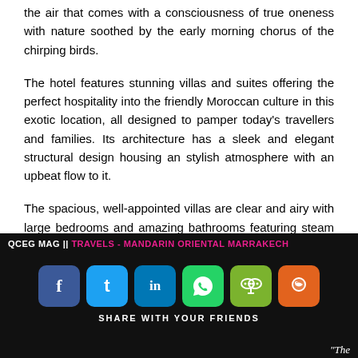the air that comes with a consciousness of true oneness with nature soothed by the early morning chorus of the chirping birds.
The hotel features stunning villas and suites offering the perfect hospitality into the friendly Moroccan culture in this exotic location, all designed to pamper today's travellers and families. Its architecture has a sleek and elegant structural design housing an stylish atmosphere with an upbeat flow to it.
The spacious, well-appointed villas are clear and airy with large bedrooms and amazing bathrooms featuring steam showers and whirlpool massage baths. The
QCEG MAG || TRAVELS - MANDARIN ORIENTAL MARRAKECH
SHARE WITH YOUR FRIENDS
“The